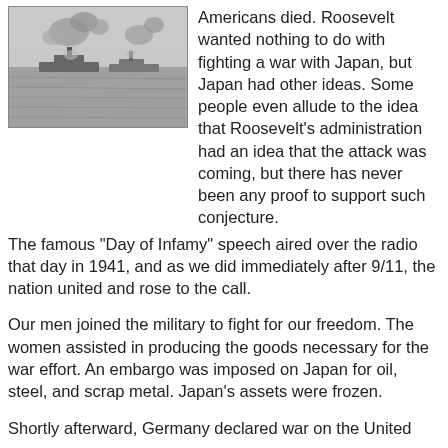[Figure (photo): Black and white photograph of ships at sea with smoke and explosions, likely depicting the attack on Pearl Harbor.]
Americans died. Roosevelt wanted nothing to do with fighting a war with Japan, but Japan had other ideas. Some people even allude to the idea that Roosevelt's administration had an idea that the attack was coming, but there has never been any proof to support such conjecture.
The famous "Day of Infamy" speech aired over the radio that day in 1941, and as we did immediately after 9/11, the nation united and rose to the call.
Our men joined the military to fight for our freedom. The women assisted in producing the goods necessary for the war effort. An embargo was imposed on Japan for oil, steel, and scrap metal. Japan's assets were frozen.
Shortly afterward, Germany declared war on the United